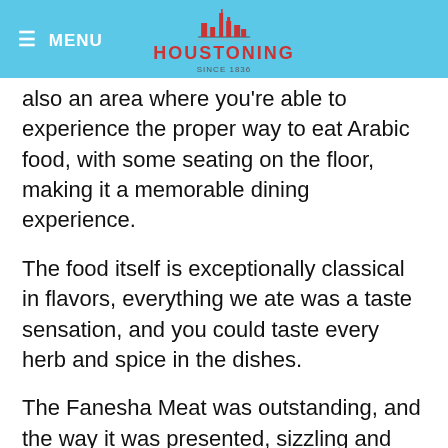≡ MENU  HOUSTONING
also an area where you're able to experience the proper way to eat Arabic food, with some seating on the floor, making it a memorable dining experience.
The food itself is exceptionally classical in flavors, everything we ate was a taste sensation, and you could taste every herb and spice in the dishes.
The Fanesha Meat was outstanding, and the way it was presented, sizzling and bubbling on the plate, was pleasing for the eye before we even started. The Biryani Shrimp was also a stand-out dish. Many of